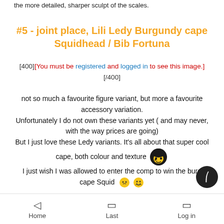the more detailed, sharper sculpt of the scales.
#5 - joint place, Lili Ledy Burgundy cape Squidhead / Bib Fortuna
[400][You must be registered and logged in to see this image.][/400]
not so much a favourite figure variant, but more a favourite accessory variation.
Unfortunately I do not own these variants yet ( and may never, with the way prices are going)
But I just love these Ledy variants. It's all about that super cool cape, both colour and texture
I just wish I was allowed to enter the comp to win the burgundy cape Squid
Home  Last  Log in